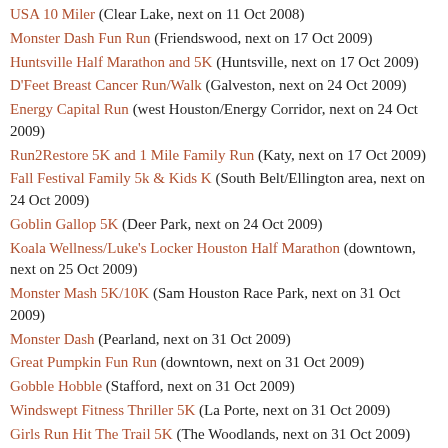USA 10 Miler (Clear Lake, next on 11 Oct 2008)
Monster Dash Fun Run (Friendswood, next on 17 Oct 2009)
Huntsville Half Marathon and 5K (Huntsville, next on 17 Oct 2009)
D'Feet Breast Cancer Run/Walk (Galveston, next on 24 Oct 2009)
Energy Capital Run (west Houston/Energy Corridor, next on 24 Oct 2009)
Run2Restore 5K and 1 Mile Family Run (Katy, next on 17 Oct 2009)
Fall Festival Family 5k & Kids K (South Belt/Ellington area, next on 24 Oct 2009)
Goblin Gallop 5K (Deer Park, next on 24 Oct 2009)
Koala Wellness/Luke's Locker Houston Half Marathon (downtown, next on 25 Oct 2009)
Monster Mash 5K/10K (Sam Houston Race Park, next on 31 Oct 2009)
Monster Dash (Pearland, next on 31 Oct 2009)
Great Pumpkin Fun Run (downtown, next on 31 Oct 2009)
Gobble Hobble (Stafford, next on 31 Oct 2009)
Windswept Fitness Thriller 5K (La Porte, next on 31 Oct 2009)
Girls Run Hit The Trail 5K (The Woodlands, next on 31 Oct 2009)